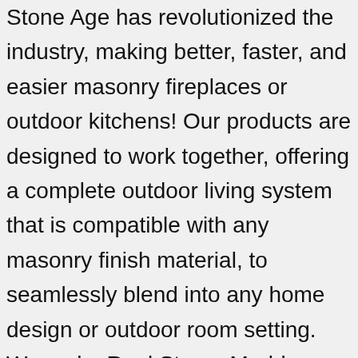Stone Age has revolutionized the industry, making better, faster, and easier masonry fireplaces or outdoor kitchens! Our products are designed to work together, offering a complete outdoor living system that is compatible with any masonry finish material, to seamlessly blend into any home design or outdoor room setting. We make Real Stone, Marble, Brick & Slate miniature building materials to bring your models to life. Welcome to Stacey's Miniature Masonry Your fully stocked Miniature Builders Yard. In the event of non-delivery of the whole consignment, we must be notified in writing within 14 days of the date of invoice. We aim to ensure that products are dispatched to you within 14 working days, and will keep you informed if dispatch of your particular order is likely to take longer. Stone Age products are pre-engineered, modular kits designed by master masons, and are made from specially-formulated, reinforced concrete blends, in easily assembled packages designed to replace traditional scratch-built construction or other factory-built products. Our products have been tested in EPA accredited laboratories and have been found to be among the cleanest and cleanest...